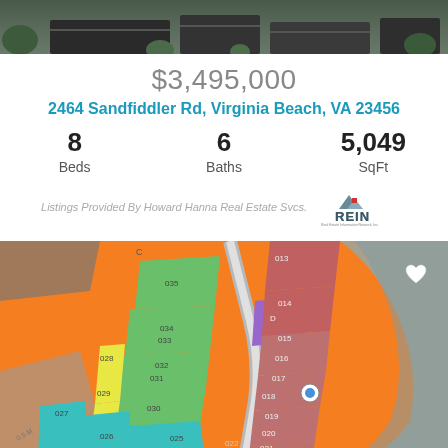[Figure (photo): Aerial/overhead photo of property exterior, dark tones, rooftop visible]
$3,495,000
2464 Sandfiddler Rd, Virginia Beach, VA 23456
8 Beds  6 Baths  5,049 SqFt
[Figure (logo): REIN - Real Estate Information Network logo]
Listings Provided By Howard Hanna Real Estate Svcs.
[Figure (map): Colorful parcel/lot map showing numbered land lots in various colors (green, yellow, teal, purple, red/pink) on an orange background with aerial imagery]